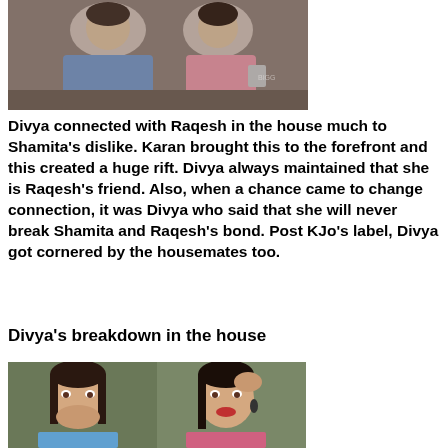[Figure (photo): Two women sitting, one in denim jacket, another in pink, from a reality TV show]
Divya connected with Raqesh in the house much to Shamita's dislike. Karan brought this to the forefront and this created a huge rift. Divya always maintained that she is Raqesh's friend. Also, when a chance came to change connection, it was Divya who said that she will never break Shamita and Raqesh's bond. Post KJo's label, Divya got cornered by the housemates too.
Divya's breakdown in the house
[Figure (photo): Two photos of a woman covering her mouth and crying, from a reality TV show]